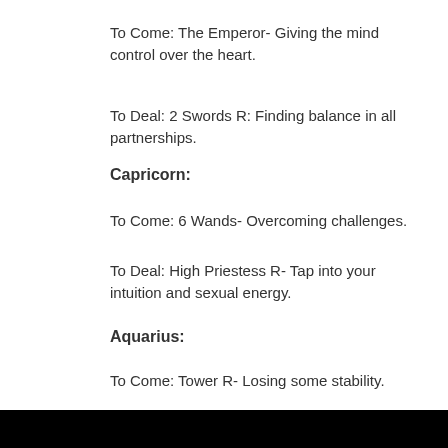To Come: The Emperor- Giving the mind control over the heart.
To Deal: 2 Swords R: Finding balance in all partnerships.
Capricorn:
To Come: 6 Wands- Overcoming challenges.
To Deal: High Priestess R- Tap into your intuition and sexual energy.
Aquarius:
To Come: Tower R- Losing some stability.
To Deal: Death R- Know that endings spawn beginnings.